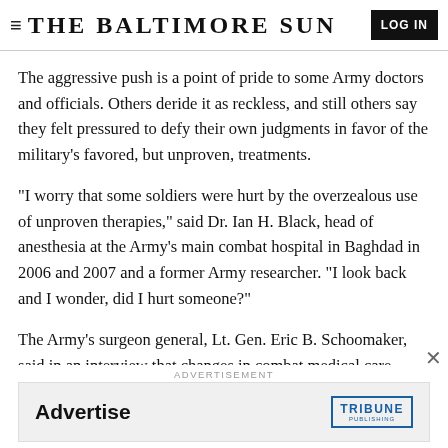= THE BALTIMORE SUN | LOG IN
The aggressive push is a point of pride to some Army doctors and officials. Others deride it as reckless, and still others say they felt pressured to defy their own judgments in favor of the military's favored, but unproven, treatments.
"I worry that some soldiers were hurt by the overzealous use of unproven therapies," said Dr. Ian H. Black, head of anesthesia at the Army's main combat hospital in Baghdad in 2006 and 2007 and a former Army researcher. "I look back and I wonder, did I hurt someone?"
The Army's surgeon general, Lt. Gen. Eric B. Schoomaker, said in an interview that changes in combat medical care
ADVERTISEMENT
[Figure (other): Advertisement banner with 'Advertise' text on the left and Tribune Publishing logo on the right]